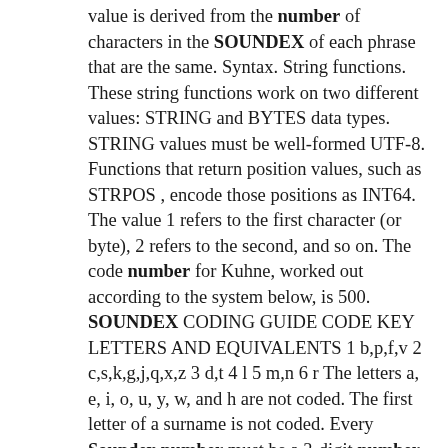value is derived from the number of characters in the SOUNDEX of each phrase that are the same. Syntax. String functions. These string functions work on two different values: STRING and BYTES data types. STRING values must be well-formed UTF-8. Functions that return position values, such as STRPOS , encode those positions as INT64. The value 1 refers to the first character (or byte), 2 refers to the second, and so on. The code number for Kuhne, worked out according to the system below, is 500. SOUNDEX CODING GUIDE CODE KEY LETTERS AND EQUIVALENTS 1 b,p,f,v 2 c,s,k,g,j,q,x,z 3 d,t 4 l 5 m,n 6 r The letters a, e, i, o, u, y, w, and h are not coded. The first letter of a surname is not coded. Every Soundex number must be a 3-digit number.. DIFFERENCE. The DIFFERENCE function compares two expressions and assigns a value between 0 and 4,